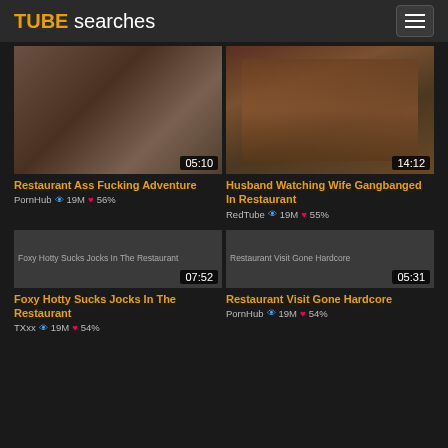TUBE searches
[Figure (photo): Video thumbnail - adult content, duration 05:10]
Restaurant Ass Fucking Adventure
PornHub 19M 56%
[Figure (photo): Video thumbnail - restaurant scene with people dining, duration 14:12]
Husband Watching Wife Gangbanged In Restaurant
RedTube 19M 55%
[Figure (photo): Video thumbnail placeholder - Foxy Hotty Sucks Jocks In The Restaurant, duration 07:52]
Foxy Hotty Sucks Jocks In The Restaurant
TXxx 19M 54%
[Figure (photo): Video thumbnail placeholder - Restaurant Visit Gone Hardcore, duration 05:31]
Restaurant Visit Gone Hardcore
PornHub 19M 54%